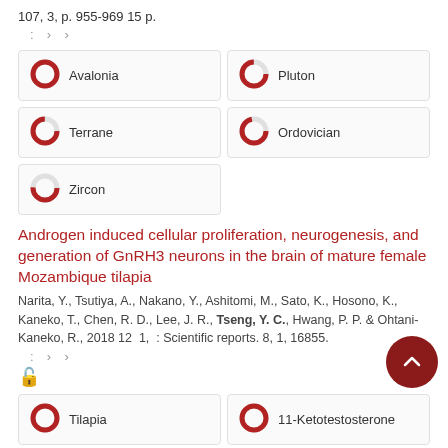107, 3, p. 955-969 15 p.
: › ›
Avalonia
Pluton
Terrane
Ordovician
Zircon
Androgen induced cellular proliferation, neurogenesis, and generation of GnRH3 neurons in the brain of mature female Mozambique tilapia
Narita, Y., Tsutiya, A., Nakano, Y., Ashitomi, M., Sato, K., Hosono, K., Kaneko, T., Chen, R. D., Lee, J. R., Tseng, Y. C., Hwang, P. P. & Ohtani-Kaneko, R., 2018 12 1, : Scientific reports. 8, 1, 16855.
: › ›
🔓
Tilapia
11-Ketotestosterone
Neurogenesis
Gonadotropin-Releasing Hormone